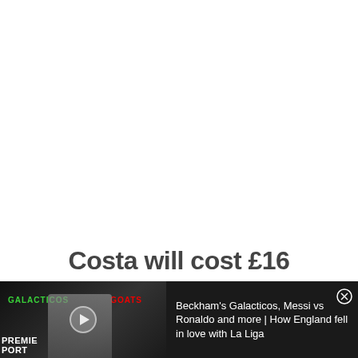Costa will cost £16
[Figure (screenshot): Video thumbnail showing a man in a blazer at a press conference background with GALACTICOS text in green and GOATS text in red, with a play button overlay. Lower left shows partial text PREMIER SPORTS.]
Beckham's Galacticos, Messi vs Ronaldo and more | How England fell in love with La Liga